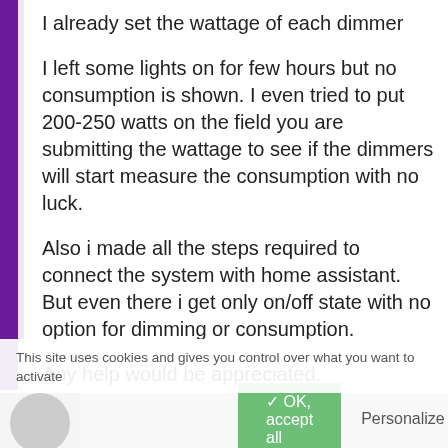I already set the wattage of each dimmer
I left some lights on for few hours but no consumption is shown. I even tried to put 200-250 watts on the field you are submitting the wattage to see if the dimmers will start measure the consumption with no luck.
Also i made all the steps required to connect the system with home assistant. But even there i get only on/off state with no option for dimming or consumption.
Any help would be appreciated.
This site uses cookies and gives you control over what you want to activate
✓ OK, accept all   Personalize